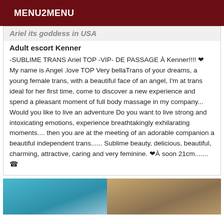MENU2MENU
Ariel its goddess in USA
Adult escort Kenner
-SUBLIME TRANS Ariel TOP -VIP- DE PASSAGE À Kenner!!!! ❤ My name is Angel .love TOP Very bellaTrans of your dreams, a young female trans, with a beautiful face of an angel, I'm at trans ideal for her first time, come to discover a new experience and spend a pleasant moment of full body massage in my company... Would you like to live an adventure Do you want to live strong and intoxicating emotions, experience breathtakingly exhilarating moments.... then you are at the meeting of an adorable companion a beautiful independent trans...... Sublime beauty, delicious, beautiful, charming, attractive, caring and very feminine. ❤À soon 21cm....... ☎
[Figure (photo): Photo strip showing two partial images of persons with teal/blue hair on left and dark background on right]